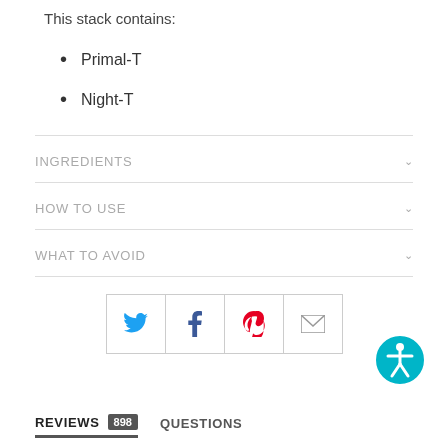This stack contains:
Primal-T
Night-T
INGREDIENTS
HOW TO USE
WHAT TO AVOID
[Figure (infographic): Social sharing buttons: Twitter, Facebook, Pinterest, Email]
[Figure (infographic): Accessibility button (wheelchair icon) in teal circle]
REVIEWS 898   QUESTIONS